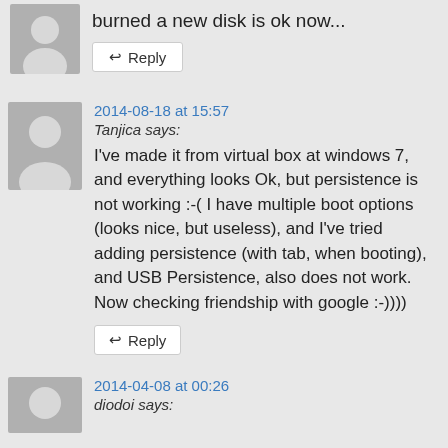burned a new disk is ok now...
Reply
2014-08-18 at 15:57
Tanjica says:
I've made it from virtual box at windows 7, and everything looks Ok, but persistence is not working :-( I have multiple boot options (looks nice, but useless), and I've tried adding persistence (with tab, when booting), and USB Persistence, also does not work. Now checking friendship with google :-))))
Reply
2014-04-08 at 00:26
diodoi says: